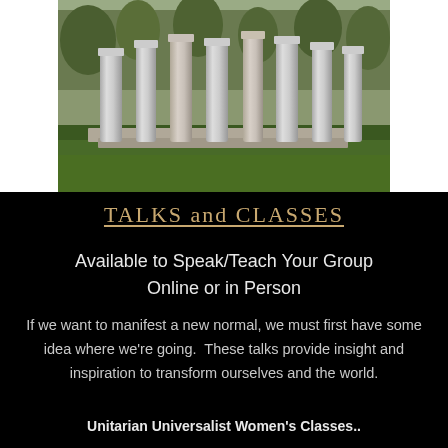[Figure (photo): Photograph of ancient Greek or Roman stone columns rising from green grass, with trees in the background.]
TALKS and CLASSES
Available to Speak/Teach Your Group Online or in Person
If we want to manifest a new normal, we must first have some idea where we're going.  These talks provide insight and inspiration to transform ourselves and the world.
Unitarian Universalist Women's Classes..